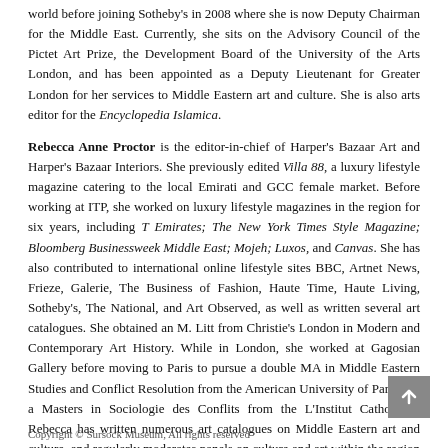world before joining Sotheby's in 2008 where she is now Deputy Chairman for the Middle East. Currently, she sits on the Advisory Council of the Pictet Art Prize, the Development Board of the University of the Arts London, and has been appointed as a Deputy Lieutenant for Greater London for her services to Middle Eastern art and culture. She is also arts editor for the Encyclopedia Islamica.
Rebecca Anne Proctor is the editor-in-chief of Harper's Bazaar Art and Harper's Bazaar Interiors. She previously edited Villa 88, a luxury lifestyle magazine catering to the local Emirati and GCC female market. Before working at ITP, she worked on luxury lifestyle magazines in the region for six years, including T Emirates; The New York Times Style Magazine; Bloomberg Businessweek Middle East; Mojeh; Luxos, and Canvas. She has also contributed to international online lifestyle sites BBC, Artnet News, Frieze, Galerie, The Business of Fashion, Haute Time, Haute Living, Sotheby's, The National, and Art Observed, as well as written several art catalogues. She obtained an M. Litt from Christie's London in Modern and Contemporary Art History. While in London, she worked at Gagosian Gallery before moving to Paris to pursue a double MA in Middle Eastern Studies and Conflict Resolution from the American University of Paris and a Masters in Sociologie des Conflits from the L'Institut Catholique. Rebecca has written numerous art catalogues on Middle Eastern art and culture, and regularly moderates panels on culture and art within the region and internationally.
Copyright © Sursock Museum, All rights reserved